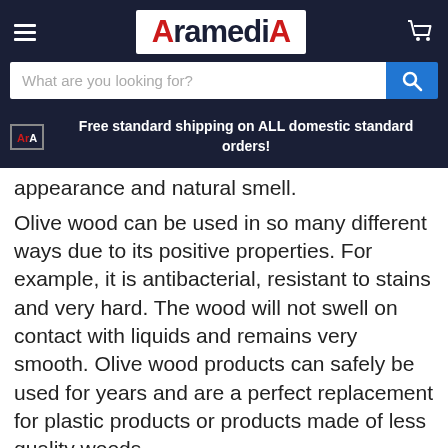AramediA
What are you looking for?
Free standard shipping on ALL domestic standard orders!
appearance and natural smell.
Olive wood can be used in so many different ways due to its positive properties. For example, it is antibacterial, resistant to stains and very hard. The wood will not swell on contact with liquids and remains very smooth. Olive wood products can safely be used for years and are a perfect replacement for plastic products or products made of less quality woods.
The wood we use for our products is a byproduct of agriculture. Trees that no longer bear fruit and are